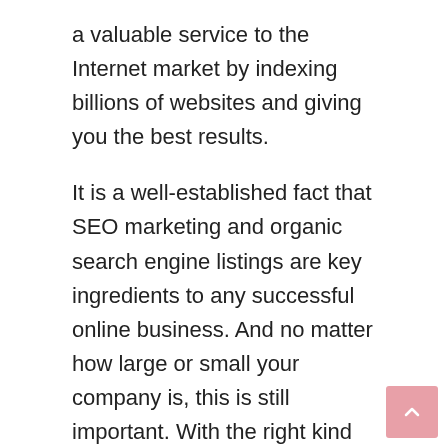a valuable service to the Internet market by indexing billions of websites and giving you the best results.
It is a well-established fact that SEO marketing and organic search engine listings are key ingredients to any successful online business. And no matter how large or small your company is, this is still important. With the right kind of SEO and organic listings, your business can achieve high levels of traffic and search engine listings, which can mean increased sales, a boost in profits, and a greater chance of success. In fact, when done correctly, SEO marketing can also drive targeted visitors directly to your own websites and thereby increase your profit potential.
And it doesn’t stop at SEO. Your company should